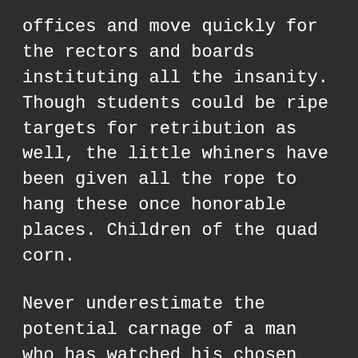offices and move quickly for the rectors and boards instituting all the insanity. Though students could be ripe targets for retribution as well, the little whiners have been given all the rope to hang these once honorable places. Children of the quad corn.
Never underestimate the potential carnage of a man who has watched his chosen scientific profession be so thoroughly debased and soiled, his professional dignity undermined by emotionally incontinent entitled bedwetters. Never underestimate anything about a man who has been pushed to his limits with nothing to lose. It'll be just before his tenure appointment because he's under investigation